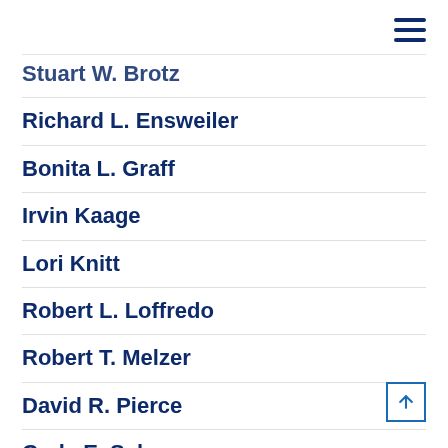Stuart W. Brotz
Richard L. Ensweiler
Bonita L. Graff
Irvin Kaage
Lori Knitt
Robert L. Loffredo
Robert T. Melzer
David R. Pierce
Carla E. Salmon
Rev. Stephen Savides
Fredric A. Seefeldt